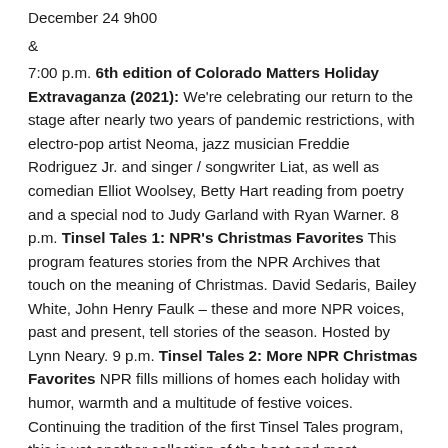December 24 9h00
&
7:00 p.m. 6th edition of Colorado Matters Holiday Extravaganza (2021): We're celebrating our return to the stage after nearly two years of pandemic restrictions, with electro-pop artist Neoma, jazz musician Freddie Rodriguez Jr. and singer / songwriter Liat, as well as comedian Elliot Woolsey, Betty Hart reading from poetry and a special nod to Judy Garland with Ryan Warner. 8 p.m. Tinsel Tales 1: NPR's Christmas Favorites This program features stories from the NPR Archives that touch on the meaning of Christmas. David Sedaris, Bailey White, John Henry Faulk – these and more NPR voices, past and present, tell stories of the season. Hosted by Lynn Neary. 9 p.m. Tinsel Tales 2: More NPR Christmas Favorites NPR fills millions of homes each holiday with humor, warmth and a multitude of festive voices. Continuing the tradition of the first Tinsel Tales program, this is yet another collection of the best and most requested vacation stories. Joy, hope, and childhood memories overflow as NPR's voices, past and present, tell stories